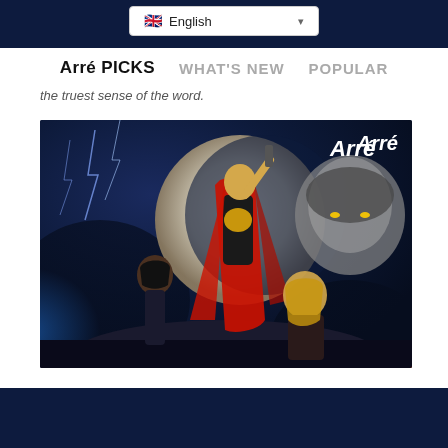English language selector, navigation bar
Arré PICKS   WHAT'S NEW   POPULAR
the truest sense of the word.
[Figure (photo): Thor Love and Thunder movie poster artwork showing Thor in red cape holding a weapon aloft under a large moon, with two female characters and a shadowy villain face. Arré watermark in top right corner.]
POP CULTURE